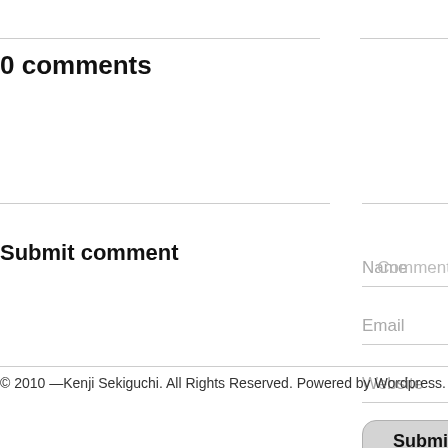0 comments
Submit comment
Name
Email
Website
Comment
Submit
© 2010 —Kenji Sekiguchi. All Rights Reserved. Powered by Wordpress.